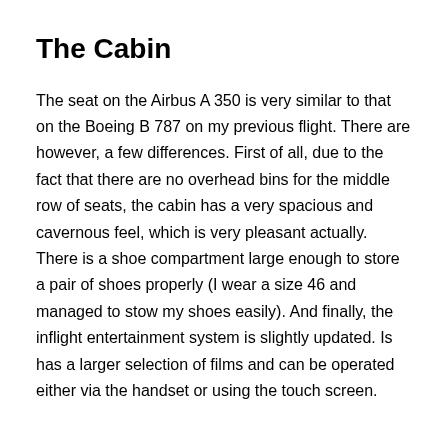The Cabin
The seat on the Airbus A 350 is very similar to that on the Boeing B 787 on my previous flight. There are however, a few differences. First of all, due to the fact that there are no overhead bins for the middle row of seats, the cabin has a very spacious and cavernous feel, which is very pleasant actually. There is a shoe compartment large enough to store a pair of shoes properly (I wear a size 46 and managed to stow my shoes easily). And finally, the inflight entertainment system is slightly updated. Is has a larger selection of films and can be operated either via the handset or using the touch screen.